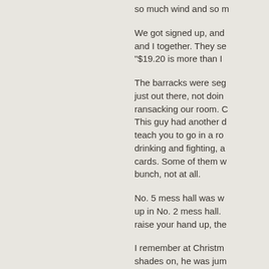so much wind and so m
We got signed up, and and I together. They se "$19.20 is more than I
The barracks were seg just out there, not doin ransacking our room. C This guy had another d teach you to go in a ro drinking and fighting, a cards. Some of them w bunch, not at all.
No. 5 mess hall was w up in No. 2 mess hall. raise your hand up, the
I remember at Christm shades on, he was jum